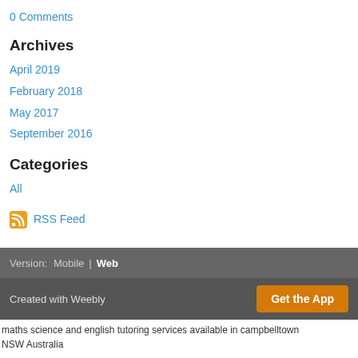0 Comments
Archives
April 2019
February 2018
May 2017
September 2016
Categories
All
RSS Feed
Version: Mobile | Web
Created with Weebly
Get the App
maths science and english tutoring services available in campbelltown NSW Australia